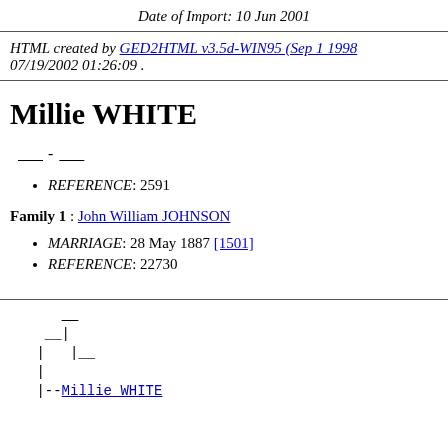Date of Import: 10 Jun 2001
HTML created by GED2HTML v3.5d-WIN95 (Sep 1 1998) on 07/19/2002 01:26:09 .
Millie WHITE
____ - ____
REFERENCE: 2591
Family 1 : John William JOHNSON
MARRIAGE: 28 May 1887 [1501]
REFERENCE: 22730
[Figure (other): Genealogy tree diagram showing ancestry lines with Millie WHITE at bottom]
|--Millie WHITE